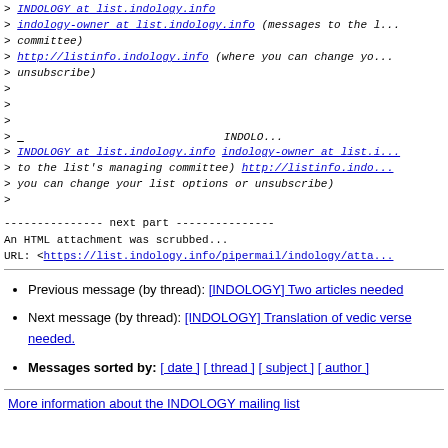> INDOLOGY at list.indology.info
> indology-owner at list.indology.info (messages to the committee)
> http://listinfo.indology.info (where you can change your options or unsubscribe)
>
>
>
> ___ INDOLOGY
> INDOLOGY at list.indology.info indology-owner at list.i... (messages to the list's managing committee) http://listinfo.indo... (where you can change your list options or unsubscribe)
>
--------------- next part ---------------
An HTML attachment was scrubbed...
URL: <https://list.indology.info/pipermail/indology/atta...
Previous message (by thread): [INDOLOGY] Two articles needed
Next message (by thread): [INDOLOGY] Translation of vedic verse needed.
Messages sorted by: [ date ] [ thread ] [ subject ] [ author ]
More information about the INDOLOGY mailing list